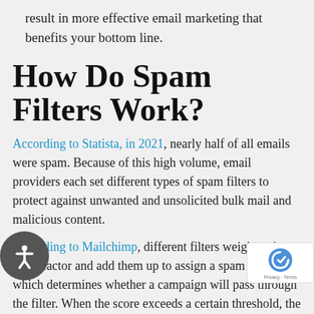result in more effective email marketing that benefits your bottom line.
How Do Spam Filters Work?
According to Statista, in 2021, nearly half of all emails were spam. Because of this high volume, email providers each set different types of spam filters to protect against unwanted and unsolicited bulk mail and malicious content.
According to Mailchimp, different filters weigh each spam factor and add them up to assign a spam score, which determines whether a campaign will pass through the filter. When the score exceeds a certain threshold, the email is marked as spam and is sent to the junk folder.